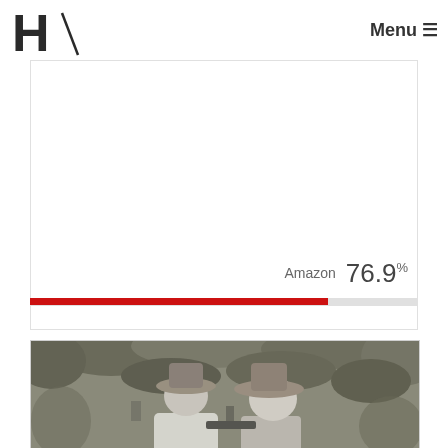H/ Menu ☰
[Figure (other): White rectangle with a horizontal progress bar at the bottom showing a red filled portion and a light gray unfilled portion]
Amazon 76.9%
[Figure (photo): Black and white photograph of two men wearing cowboy hats, outdoors among trees, one leaning over looking at something]